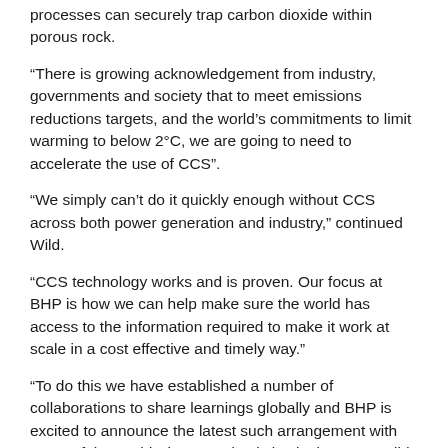processes can securely trap carbon dioxide within porous rock.
“There is growing acknowledgement from industry, governments and society that to meet emissions reductions targets, and the world’s commitments to limit warming to below 2°C, we are going to need to accelerate the use of CCS”.
“We simply can’t do it quickly enough without CCS across both power generation and industry,” continued Wild.
“CCS technology works and is proven. Our focus at BHP is how we can help make sure the world has access to the information required to make it work at scale in a cost effective and timely way.”
“To do this we have established a number of collaborations to share learnings globally and BHP is excited to announce the latest such arrangement with some of the world’s best academic institutions,” Dr Wild explained.
Stanford University Professor Sally Benson said the findings of this important partnership would be published to support the acceleration of the deployment of CCS globally.
“We believe research and lessons from existing pilot and commercial scale plants can help create a step change in the development and deployment of this critical technology,” Benson